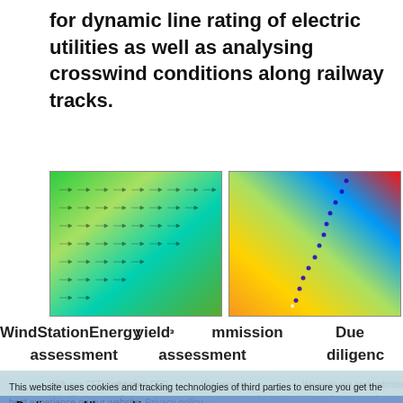for dynamic line rating of electric utilities as well as analysing crosswind conditions along railway tracks.
[Figure (illustration): Two wind field simulation maps side by side: left shows a green/yellow CFD wind vector field map; right shows a colorful terrain-based wind analysis map with blue dotted path. Two additional strip images partially visible to the right.]
WindStationEnergy yieldᵎCommission  Due
assessmentassessmentdiligenc
With our CFD-software WindStation we offer a professional tool for simulating the wind field and wind farm ener-
Combining CFD-simulations, measuring, energy yield and meso-scale data we prepare bankable and
We prepare assessments for noise immissions and shadow flicker as well as site suitability and turbulence according to
We evaluate and optimise the performance of your wind farm including analyses of SCADA-data. We check your
This website uses cookies and tracking technologies of third parties to ensure you get the best experience on our website. Privacy policy